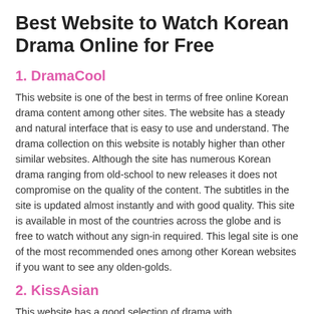Best Website to Watch Korean Drama Online for Free
1. DramaCool
This website is one of the best in terms of free online Korean drama content among other sites. The website has a steady and natural interface that is easy to use and understand. The drama collection on this website is notably higher than other similar websites. Although the site has numerous Korean drama ranging from old-school to new releases it does not compromise on the quality of the content. The subtitles in the site is updated almost instantly and with good quality. This site is available in most of the countries across the globe and is free to watch without any sign-in required. This legal site is one of the most recommended ones among other Korean websites if you want to see any olden-golds.
2. KissAsian
This website has a good selection of drama with